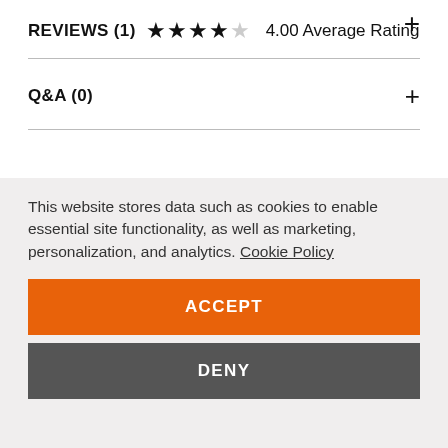REVIEWS (1) ★★★★☆ 4.00 Average Rating
Q&A (0)
H-D™ Visa® Card
This website stores data such as cookies to enable essential site functionality, as well as marketing, personalization, and analytics. Cookie Policy
ACCEPT
DENY